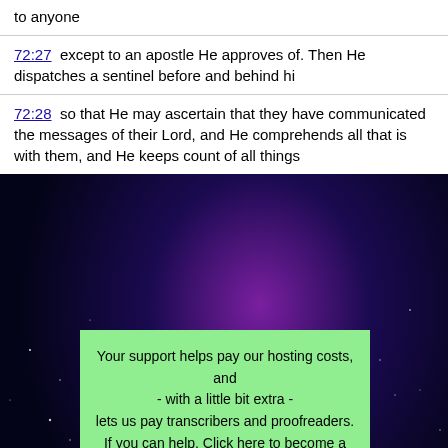to anyone
72:27  except to an apostle He approves of. Then He dispatches a sentinel before and behind hi
72:28  so that He may ascertain that they have communicated the messages of their Lord, and He comprehends all that is with them, and He keeps count of all things
Your support helps pay our hosting costs, and - with a little bit extra - lets us pay transcribers and proofreaders. If you can help, Click here to become a Patreon: www.patreon.com/IslamAwakened Thank you!